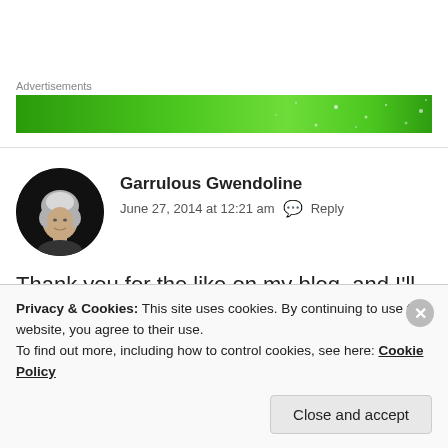Advertisements
[Figure (illustration): Green advertisement banner with dotted light pattern]
Garrulous Gwendoline
June 27, 2014 at 12:21 am   Reply
Thank you for the like on my blog, and I'll be checking yours out too! The Reluctant Retiree
Privacy & Cookies: This site uses cookies. By continuing to use this website, you agree to their use.
To find out more, including how to control cookies, see here: Cookie Policy
Close and accept